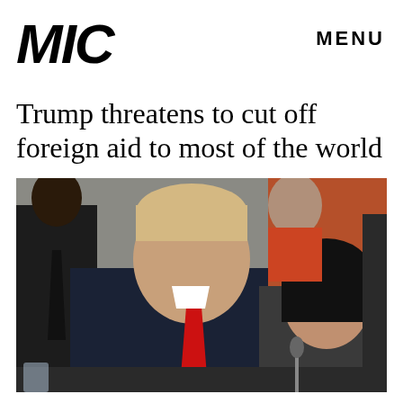MIC
MENU
Trump threatens to cut off foreign aid to most of the world
[Figure (photo): Photo of Donald Trump in dark suit with red tie leaning toward a dark-haired woman in a grey jacket, both seated at a table, with other figures in the background]